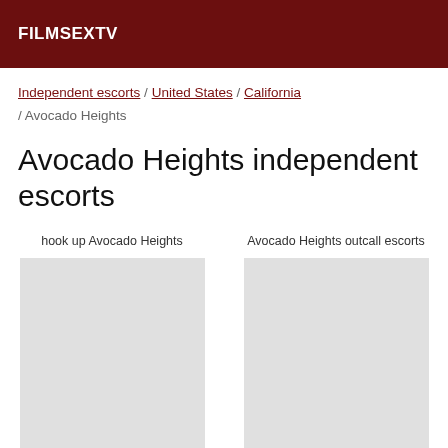FILMSEXTV
Independent escorts / United States / California / Avocado Heights
Avocado Heights independent escorts
hook up Avocado Heights
Avocado Heights outcall escorts
Emylou - 45 years old
Florana - 46 years old
Avocado Heights escorts outcall
outcall escort Avocado Heights